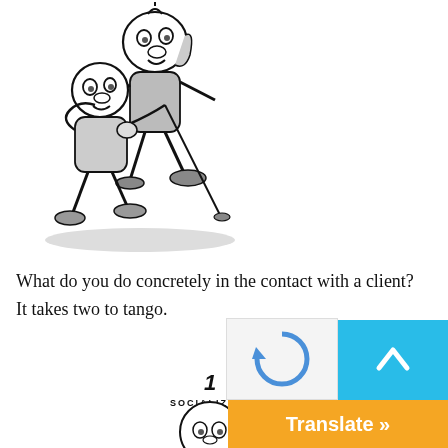[Figure (illustration): Cartoon illustration of two figures dancing the tango together, drawn in black and white with grey shading. One figure appears to be leading the other in a tango pose.]
What do you do concretely in the contact with a client? It takes two to tango.
[Figure (illustration): Partial cartoon illustration showing a circular figure with the number 1 and the word SOCIALIZING above it, indicating the first step labeled Socializing.]